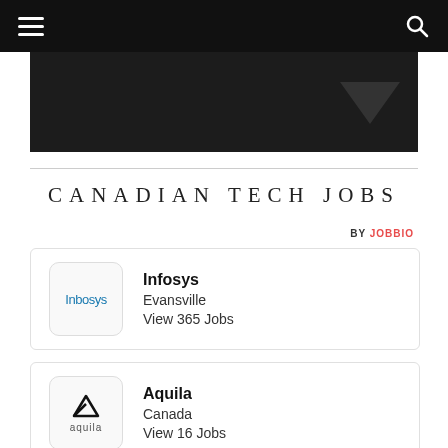Navigation bar with hamburger menu and search icon
[Figure (illustration): Dark hero banner image with a downward-pointing triangle chevron on the right side]
CANADIAN TECH JOBS
BY JOBBIO
Infosys
Evansville
View 365 Jobs
Aquila
Canada
View 16 Jobs